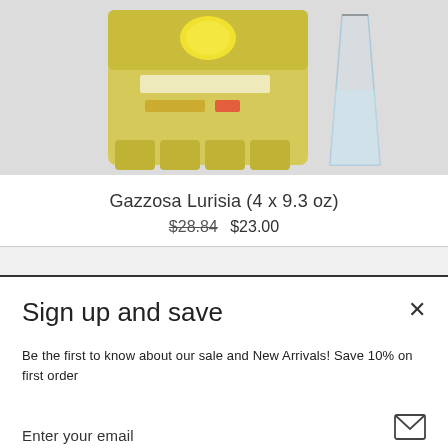[Figure (photo): Product photo of Gazzosa Lurisia lemon soda 4-pack in yellow packaging next to a glass of water, on a light gray background]
Gazzosa Lurisia (4 x 9.3 oz)
$28.84  $23.00
Sign up and save
Be the first to know about our sale and New Arrivals! Save 10% on first order
Enter your email